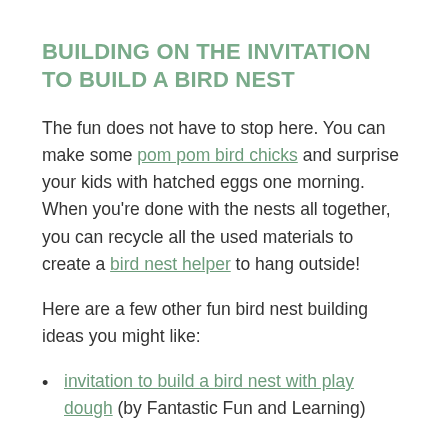BUILDING ON THE INVITATION TO BUILD A BIRD NEST
The fun does not have to stop here. You can make some pom pom bird chicks and surprise your kids with hatched eggs one morning. When you're done with the nests all together, you can recycle all the used materials to create a bird nest helper to hang outside!
Here are a few other fun bird nest building ideas you might like:
invitation to build a bird nest with play dough (by Fantastic Fun and Learning)